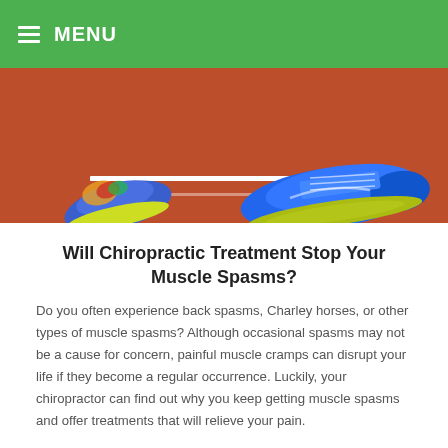MENU
[Figure (photo): Close-up photo of a person wearing blue athletic shoes with yellow-green soles on a red running track with white lane lines visible.]
Will Chiropractic Treatment Stop Your Muscle Spasms?
Do you often experience back spasms, Charley horses, or other types of muscle spasms? Although occasional spasms may not be a cause for concern, painful muscle cramps can disrupt your life if they become a regular occurrence. Luckily, your chiropractor can find out why you keep getting muscle spasms and offer treatments that will relieve your pain.